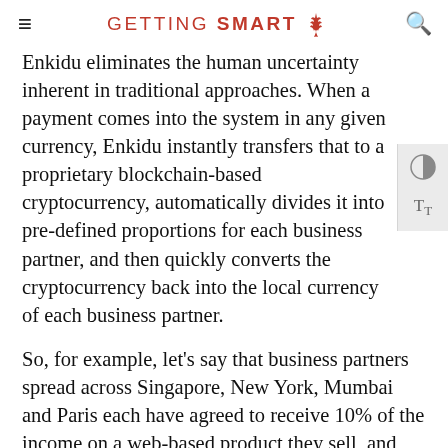GETTING SMART
Enkidu eliminates the human uncertainty inherent in traditional approaches. When a payment comes into the system in any given currency, Enkidu instantly transfers that to a proprietary blockchain-based cryptocurrency, automatically divides it into pre-defined proportions for each business partner, and then quickly converts the cryptocurrency back into the local currency of each business partner.
So, for example, let's say that business partners spread across Singapore, New York, Mumbai and Paris each have agreed to receive 10% of the income on a web-based product they sell, and the leader of the business in Cairo receives 60%.